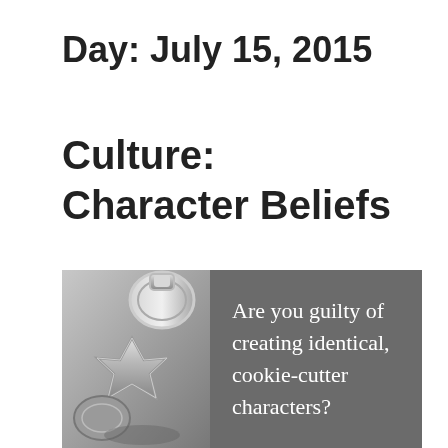Day: July 15, 2015
Culture: Character Beliefs
[Figure (photo): Photo of metal cookie cutters on the left, with a dark gray panel on the right containing white text: 'Are you guilty of creating identical, cookie-cutter characters?']